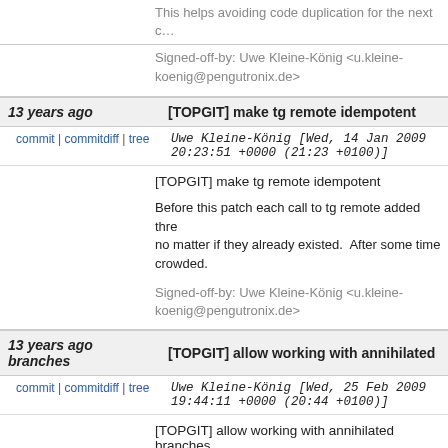This helps avoiding code duplication for the next commit.
Signed-off-by: Uwe Kleine-König <u.kleine-koenig@pengutronix.de>
13 years ago | [TOPGIT] make tg remote idempotent
commit | commitdiff | tree   Uwe Kleine-König [Wed, 14 Jan 2009 20:23:51 +0000 (21:23 +0100)]
[TOPGIT] make tg remote idempotent

Before this patch each call to tg remote added three remote entries, no matter if they already existed.  After some time the config gets crowded.
Signed-off-by: Uwe Kleine-König <u.kleine-koenig@pengutronix.de>
13 years ago | [TOPGIT] allow working with annihilated branches
commit | commitdiff | tree   Uwe Kleine-König [Wed, 25 Feb 2009 19:44:11 +0000 (20:44 +0100)]
[TOPGIT] allow working with annihilated branches

If you decide that you want to drop a patch, you can merge the base with strategy "theirs".  Then you have base=top, and there are no .top* files any more.  This patch fixes tg summary and tg info and changes recurse_deps() to handle these annihilated branches.